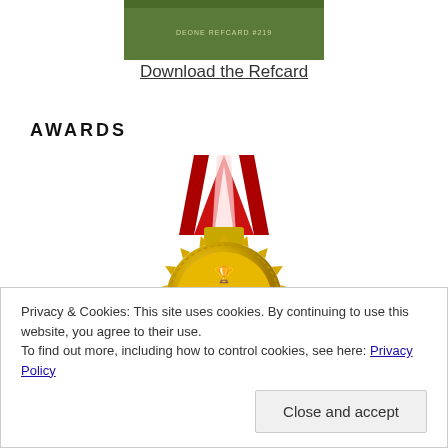[Figure (screenshot): Green Refcard book cover thumbnail image]
Download the Refcard
AWARDS
[Figure (illustration): Gold medal with red ribbon awarded Top 40 Java Blog]
Privacy & Cookies: This site uses cookies. By continuing to use this website, you agree to their use.
To find out more, including how to control cookies, see here: Privacy Policy
Close and accept